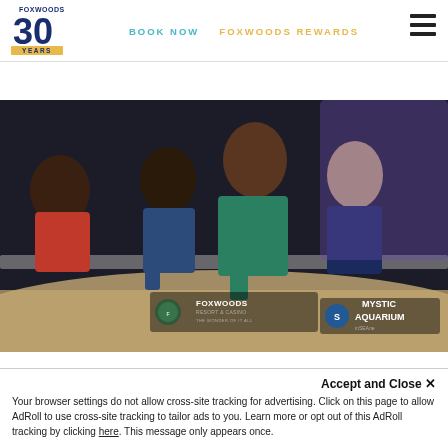[Figure (logo): Foxwoods 30 Years logo with navy blue and gold design]
BOOK NOW   FOXWOODS REWARDS
[Figure (photo): Children and a woman leaning over an aquarium touch tank at Mystic Aquarium, with Foxwoods Resort & Casino and Mystic Aquarium logos overlaid at the bottom right]
Accept and Close ✕
Your browser settings do not allow cross-site tracking for advertising. Click on this page to allow AdRoll to use cross-site tracking to tailor ads to you. Learn more or opt out of this AdRoll tracking by clicking here. This message only appears once.